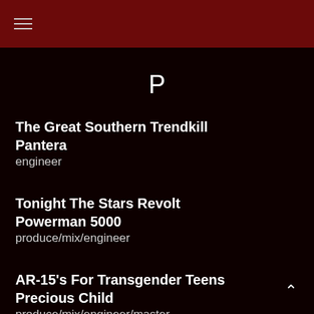≡
P
The Great Southern Trendkill
Pantera
engineer
Tonight The Stars Revolt
Powerman 5000
produce/mix/engineer
AR-15's For Transgender Teens
Precious Child
produce/mix/engineer/master
Rude Awakening